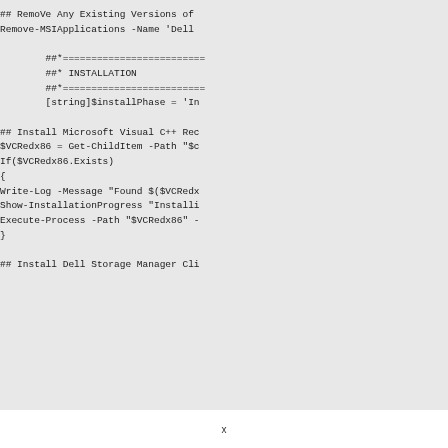## RemoVe Any Existing Versions of...
Remove-MSIApplications -Name 'Dell...

        ##*=======================...
        ##* INSTALLATION
        ##*=======================...
        [string]$installPhase = 'In...

## Install Microsoft Visual C++ Re...
$VCRedx86 = Get-ChildItem -Path "$c...
If($VCRedx86.Exists)
{
Write-Log -Message "Found $($VCRedx...
Show-InstallationProgress "Installi...
Execute-Process -Path "$VCRedx86" -...
}

## Install Dell Storage Manager Cli...
x